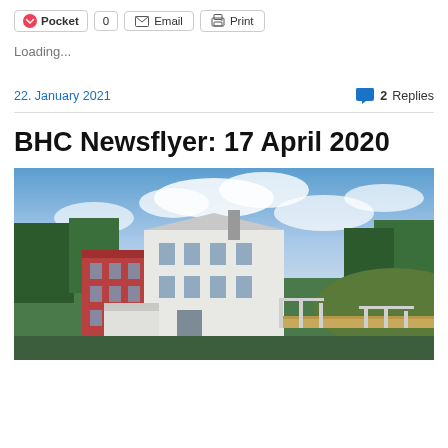Pocket 0 | Email | Print
Loading...
22. January 2021 — 2 Replies
BHC Newsflyer: 17 April 2020
[Figure (photo): Photograph of a historic mill building with a red brick section and white upper structure, alongside a wooden pedestrian bridge, with trees and partly cloudy skies in the background.]